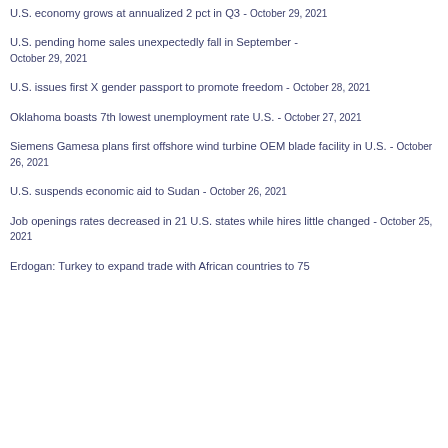U.S. economy grows at annualized 2 pct in Q3 - October 29, 2021
U.S. pending home sales unexpectedly fall in September - October 29, 2021
U.S. issues first X gender passport to promote freedom - October 28, 2021
Oklahoma boasts 7th lowest unemployment rate U.S. - October 27, 2021
Siemens Gamesa plans first offshore wind turbine OEM blade facility in U.S. - October 26, 2021
U.S. suspends economic aid to Sudan - October 26, 2021
Job openings rates decreased in 21 U.S. states while hires little changed - October 25, 2021
Erdogan: Turkey to expand trade with African countries to 75